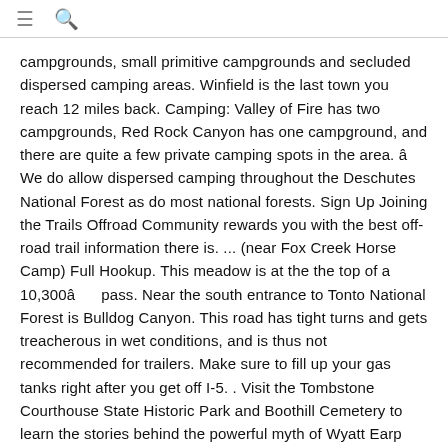≡ 🔍
campgrounds, small primitive campgrounds and secluded dispersed camping areas. Winfield is the last town you reach 12 miles back. Camping: Valley of Fire has two campgrounds, Red Rock Canyon has one campground, and there are quite a few private camping spots in the area. â    We do allow dispersed camping throughout the Deschutes National Forest as do most national forests. Sign Up Joining the Trails Offroad Community rewards you with the best off-road trail information there is. ... (near Fox Creek Horse Camp) Full Hookup. This meadow is at the the top of a 10,300â      pass. Near the south entrance to Tonto National Forest is Bulldog Canyon. This road has tight turns and gets treacherous in wet conditions, and is thus not recommended for trailers. Make sure to fill up your gas tanks right after you get off I-5. . Visit the Tombstone Courthouse State Historic Park and Boothill Cemetery to learn the stories behind the powerful myth of Wyatt Earp and the OK Corral. Baker-Snoqualmie National Forest, or the 150+ in Okanogan-Wenatchee National Forest); any smaller campground that doesn't use advance bookings